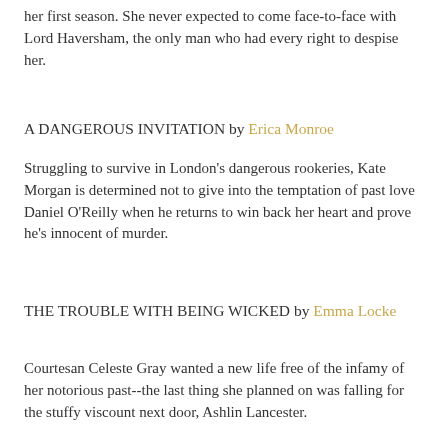her first season. She never expected to come face-to-face with Lord Haversham, the only man who had every right to despise her.
A DANGEROUS INVITATION by Erica Monroe
Struggling to survive in London's dangerous rookeries, Kate Morgan is determined not to give into the temptation of past love Daniel O'Reilly when he returns to win back her heart and prove he's innocent of murder.
THE TROUBLE WITH BEING WICKED by Emma Locke
Courtesan Celeste Gray wanted a new life free of the infamy of her notorious past--the last thing she planned on was falling for the stuffy viscount next door, Ashlin Lancester.